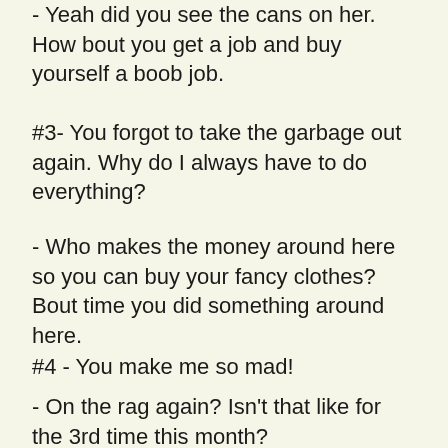-  Yeah did you see the cans on her.  How bout you get a job and buy yourself a boob job.
#3- You forgot to take the garbage out again. Why do I always have to do everything?
- Who makes the money around here so you can buy your fancy clothes?  Bout time you did something around here.
#4 - You make me so mad!
- On the rag again? Isn't that like for the 3rd time this month?